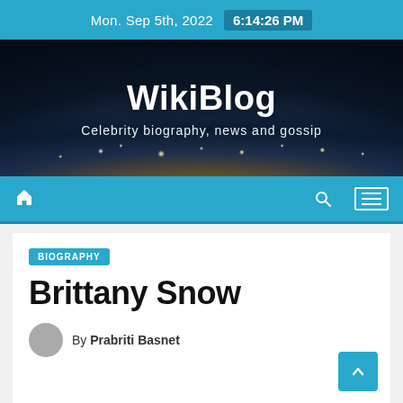Mon. Sep 5th, 2022  6:14:26 PM
[Figure (illustration): WikiBlog website header banner with Earth from space background. Large white bold text reads 'WikiBlog' with subtitle 'Celebrity biography, news and gossip']
WikiBlog
Celebrity biography, news and gossip
[Figure (screenshot): Navigation bar with home icon on left, search and hamburger menu icons on right, all on blue background]
BIOGRAPHY
Brittany Snow
By Prabriti Basnet